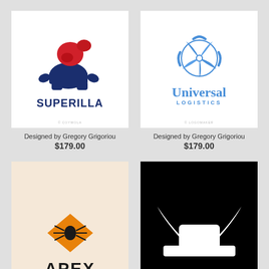[Figure (logo): Superilla logo: red gorilla silhouette atop dark blue gorilla body, text SUPERILLA in dark blue bold uppercase]
Designed by Gregory Grigoriou
$179.00
[Figure (logo): Universal Logistics logo: blue shield/propeller icon above text 'Universal' in blue serif and 'LOGISTICS' in blue spaced caps]
Designed by Gregory Grigoriou
$179.00
[Figure (logo): APEX logo: orange diamond shape with spider icon, text APEX in bold dark on cream background (partially visible)]
[Figure (logo): Dark logo on black background: white bull/horns silhouette (partially visible)]